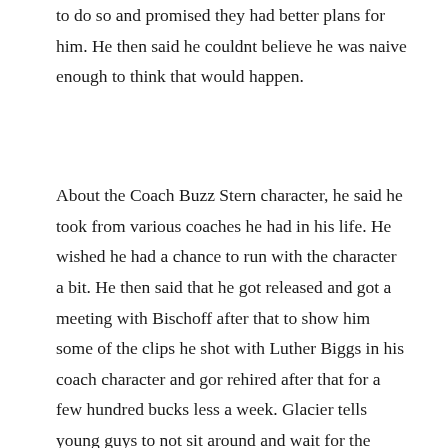to do so and promised they had better plans for him. He then said he couldnt believe he was naive enough to think that would happen.
About the Coach Buzz Stern character, he said he took from various coaches he had in his life. He wished he had a chance to run with the character a bit. He then said that he got released and got a meeting with Bischoff after that to show him some of the clips he shot with Luther Biggs in his coach character and gor rehired after that for a few hundred bucks less a week. Glacier tells young guys to not sit around and wait for the office to come up with something for you and be proactive.